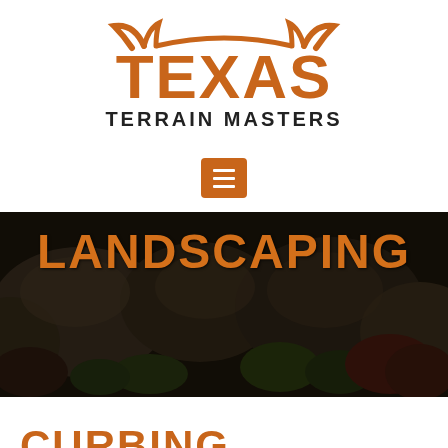[Figure (logo): Texas Terrain Masters logo with longhorn silhouette above bold TEXAS text and TERRAIN MASTERS subtitle]
[Figure (other): Orange menu/hamburger button with three white horizontal lines]
[Figure (photo): Dark photo of rocks and landscaping plants with LANDSCAPING text overlay in orange]
CURBING